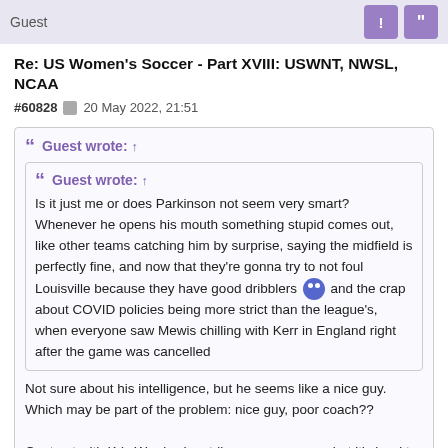Guest
Re: US Women's Soccer - Part XVIII: USWNT, NWSL, NCAA
#60828  20 May 2022, 21:51
Guest wrote: ↑
Guest wrote: ↑
Is it just me or does Parkinson not seem very smart? Whenever he opens his mouth something stupid comes out, like other teams catching him by surprise, saying the midfield is perfectly fine, and now that they're gonna try to not foul Louisville because they have good dribblers 😵 and the crap about COVID policies being more strict than the league's, when everyone saw Mewis chilling with Kerr in England right after the game was cancelled
Not sure about his intelligence, but he seems like a nice guy. Which may be part of the problem: nice guy, poor coach??

Contrast with Kris Ward, who strikes me as an ass, but it's hard to argue with the (his?) results.
What is this nonsense about Ward again? Especially coming after creepy ass Jim Gabarra and Burke. People upset that he criticized the League or